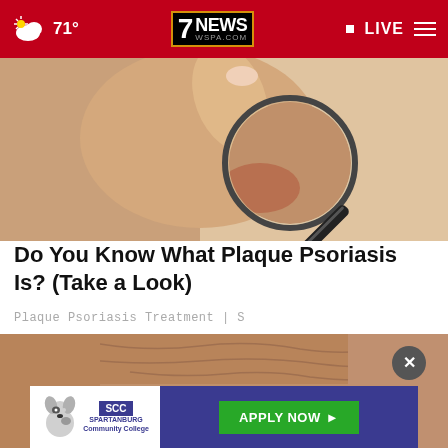71° | 7NEWS WSPA.COM | LIVE
[Figure (photo): Close-up photo of a hand holding a magnifying glass over skin]
Do You Know What Plaque Psoriasis Is? (Take a Look)
Plaque Psoriasis Treatment | S
[Figure (photo): Close-up of an elderly person's face showing wrinkles and lips with dark red lipstick]
[Figure (other): SCC Spartanburg Community College advertisement banner with APPLY NOW button]